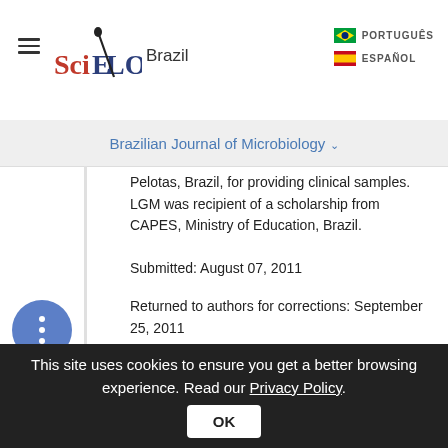SciELO Brazil | Brazilian Journal of Microbiology
Pelotas, Brazil, for providing clinical samples. LGM was recipient of a scholarship from CAPES, Ministry of Education, Brazil.
Submitted: August 07, 2011
Returned to authors for corrections: September 25, 2011
Approved: June 07, 2012
* Corresponding Author. Mailing address: Núcleo
This site uses cookies to ensure you get a better browsing experience. Read our Privacy Policy.